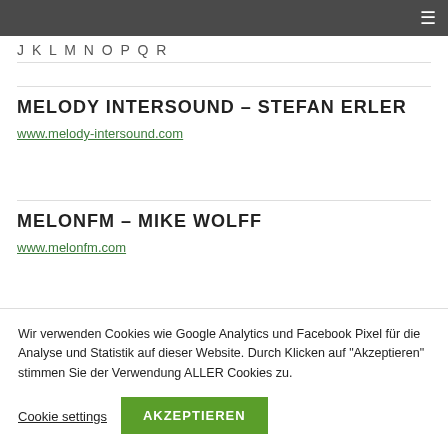≡
J K L M N O P Q R
MELODY INTERSOUND – STEFAN ERLER
www.melody-intersound.com
MELONFM – MIKE WOLFF
www.melonfm.com
Wir verwenden Cookies wie Google Analytics und Facebook Pixel für die Analyse und Statistik auf dieser Website. Durch Klicken auf "Akzeptieren" stimmen Sie der Verwendung ALLER Cookies zu.
Cookie settings
AKZEPTIEREN